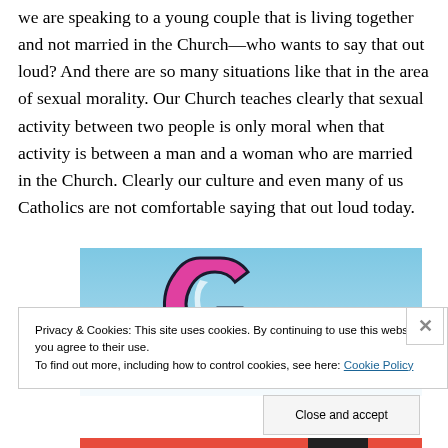we are speaking to a young couple that is living together and not married in the Church—who wants to say that out loud?  And there are so many situations like that in the area of sexual morality.  Our Church teaches clearly that sexual activity between two people is only moral when that activity is between a man and a woman who are married in the Church.  Clearly our culture and even many of us Catholics are not comfortable saying that out loud today.
[Figure (illustration): Partial illustration with colorful background (blue sky), pink and white graphic element resembling a stylized letter or character, and a yellow star/sparkle shape.]
Privacy & Cookies: This site uses cookies. By continuing to use this website, you agree to their use.
To find out more, including how to control cookies, see here: Cookie Policy
Close and accept